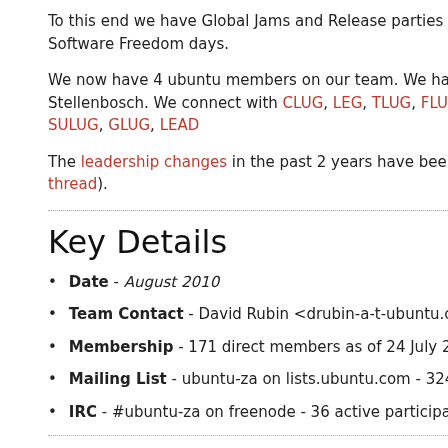To this end we have Global Jams and Release parties and we ta... Software Freedom days.
We now have 4 ubuntu members on our team. We have a sub... Stellenbosch. We connect with CLUG, LEG, TLUG, FLUG, UCT A... SULUG, GLUG, LEAD
The leadership changes in the past 2 years have been smooth... thread).
Key Details
Date - August 2010
Team Contact - David Rubin <drubin-a-t-ubuntu.com>
Membership - 171 direct members as of 24 July 2010 s...
Mailing List - ubuntu-za on lists.ubuntu.com - 324 subs...
IRC - #ubuntu-za on freenode - 36 active participants as...
Who wrote this document